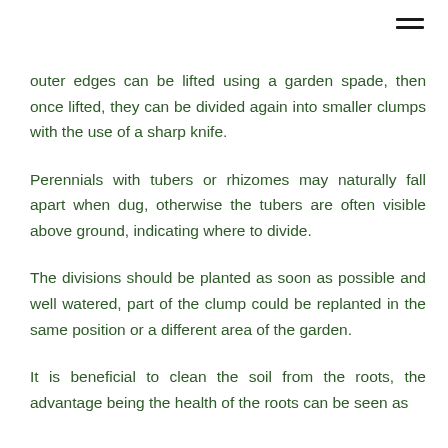[Figure (other): Hamburger menu icon (three horizontal lines) in top right corner]
outer edges can be lifted using a garden spade, then once lifted, they can be divided again into smaller clumps with the use of a sharp knife.
Perennials with tubers or rhizomes may naturally fall apart when dug, otherwise the tubers are often visible above ground, indicating where to divide.
The divisions should be planted as soon as possible and well watered, part of the clump could be replanted in the same position or a different area of the garden.
It is beneficial to clean the soil from the roots, the advantage being the health of the roots can be seen as